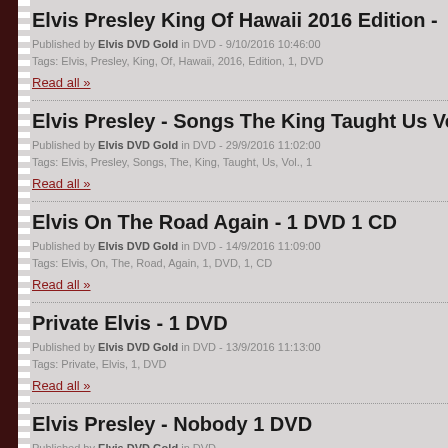Elvis Presley King Of Hawaii 2016 Edition -
Published by Elvis DVD Gold in DVD - 9/10/2016 10:46:00
Tags: Elvis, Presley, King, Of, Hawaii, 2016, Edition, 1, DVD
Read all »
Elvis Presley - Songs The King Taught Us Vo
Published by Elvis DVD Gold in DVD - 29/9/2016 11:02:00
Tags: Elvis, Presley, Songs, The, King, Taught, Us, Vol., 1
Read all »
Elvis On The Road Again - 1 DVD 1 CD
Published by Elvis DVD Gold in DVD - 14/9/2016 11:09:00
Tags: Elvis, On, The, Road, Again, 1, DVD, 1, CD
Read all »
Private Elvis - 1 DVD
Published by Elvis DVD Gold in DVD - 13/9/2016 11:13:00
Tags: Private, Elvis, 1, DVD
Read all »
Elvis Presley - Nobody 1 DVD